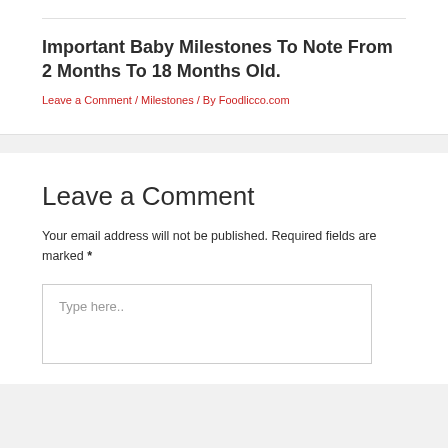Important Baby Milestones To Note From 2 Months To 18 Months Old.
Leave a Comment / Milestones / By Foodlicco.com
Leave a Comment
Your email address will not be published. Required fields are marked *
Type here..